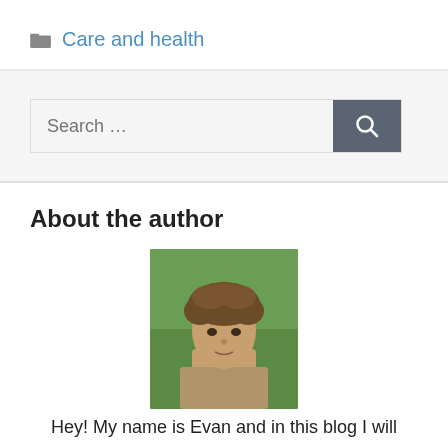Care and health
[Figure (other): Search bar with text input field and search button]
About the author
[Figure (photo): Portrait photo of a young man with curly brown hair against a green background]
Hey! My name is Evan and in this blog I will